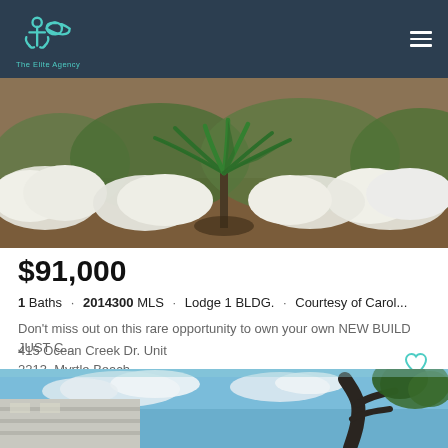The Elite Agency
[Figure (photo): Outdoor garden landscape with white flowering bushes and a large palm/cycad plant in the center, mulched ground, trees in background]
$91,000
1 Baths · 2014300 MLS · Lodge 1 BLDG. · Courtesy of Carol...
Don't miss out on this rare opportunity to own your own NEW BUILD JUST C...
415 Ocean Creek Dr. Unit 2213, Myrtle Beach
Listing courtesy of Carolina Property Specialist , Scott Furr. Selling Office: BRG Real Estate , Osborn Team.
[Figure (photo): Looking up at a building exterior against a blue sky with white clouds and tree branches in the foreground]